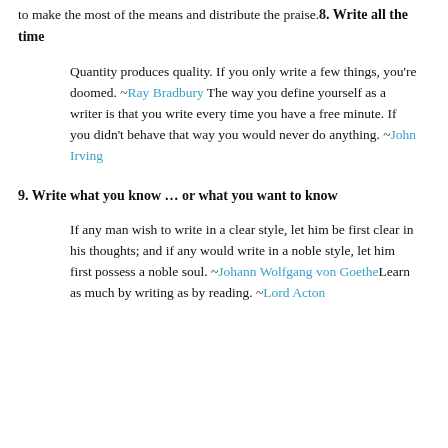to make the most of the means and distribute the praise.
8. Write all the time
Quantity produces quality. If you only write a few things, you're doomed. ~Ray Bradbury The way you define yourself as a writer is that you write every time you have a free minute. If you didn't behave that way you would never do anything. ~John Irving
9. Write what you know … or what you want to know
If any man wish to write in a clear style, let him be first clear in his thoughts; and if any would write in a noble style, let him first possess a noble soul. ~Johann Wolfgang von Goethe Learn as much by writing as by reading. ~Lord Acton